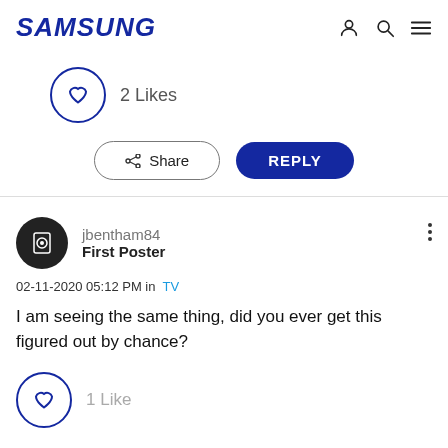SAMSUNG
[Figure (infographic): Heart icon in blue circle with '2 Likes' text]
[Figure (infographic): Share button and Reply button]
[Figure (infographic): User avatar (black circle with washing machine icon), username jbentham84, role First Poster, more options dots]
02-11-2020 05:12 PM in TV
I am seeing the same thing, did you ever get this figured out by chance?
[Figure (infographic): Heart icon in blue circle with '1 Like' text]